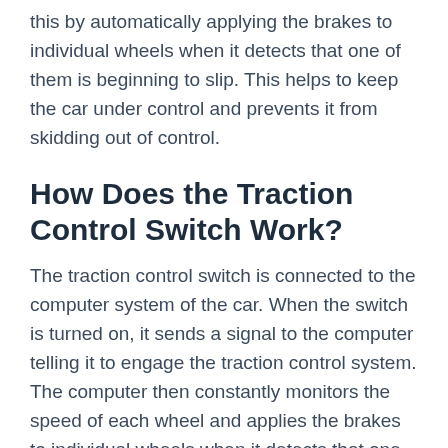this by automatically applying the brakes to individual wheels when it detects that one of them is beginning to slip. This helps to keep the car under control and prevents it from skidding out of control.
How Does the Traction Control Switch Work?
The traction control switch is connected to the computer system of the car. When the switch is turned on, it sends a signal to the computer telling it to engage the traction control system. The computer then constantly monitors the speed of each wheel and applies the brakes to individual wheels when it detects that one of them is beginning to slip.
What Are the Symptoms of a